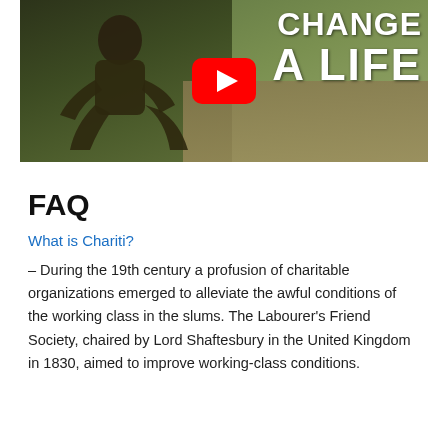[Figure (screenshot): YouTube video thumbnail showing a person crouching on the left (dark-toned image) and text 'CHANGE A LIFE' on the right with a YouTube play button in the center.]
FAQ
What is Chariti?
– During the 19th century a profusion of charitable organizations emerged to alleviate the awful conditions of the working class in the slums. The Labourer's Friend Society, chaired by Lord Shaftesbury in the United Kingdom in 1830, aimed to improve working-class conditions.